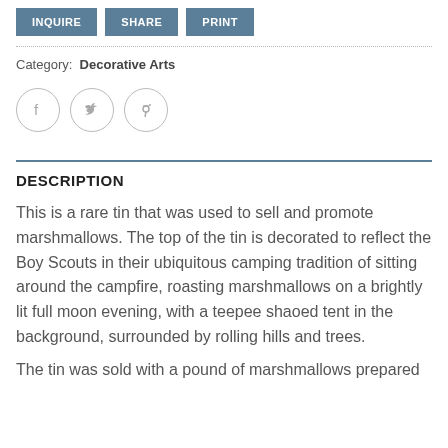[Figure (other): Three buttons: INQUIRE, SHARE, PRINT in steel blue]
Category: Decorative Arts
[Figure (other): Three social share icons in circles: Facebook, Twitter, Pinterest]
DESCRIPTION
This is a rare tin that was used to sell and promote marshmallows. The top of the tin is decorated to reflect the Boy Scouts in their ubiquitous camping tradition of sitting around the campfire, roasting marshmallows on a brightly lit full moon evening, with a teepee shaoed tent in the background, surrounded by rolling hills and trees.
The tin was sold with a pound of marshmallows prepared